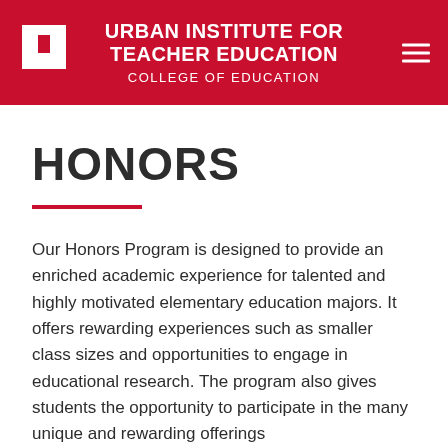URBAN INSTITUTE FOR TEACHER EDUCATION | COLLEGE OF EDUCATION
HONORS
Our Honors Program is designed to provide an enriched academic experience for talented and highly motivated elementary education majors. It offers rewarding experiences such as smaller class sizes and opportunities to engage in educational research. The program also gives students the opportunity to participate in the many unique and rewarding offerings